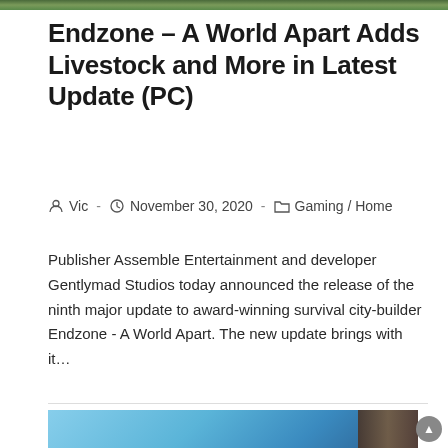[Figure (photo): Top portion of a game-related image strip, appearing to show foliage or outdoor scene]
Endzone – A World Apart Adds Livestock and More in Latest Update (PC)
Vic  ·  November 30, 2020  ·  Gaming / Home
Publisher Assemble Entertainment and developer Gentlymad Studios today announced the release of the ninth major update to award-winning survival city-builder Endzone - A World Apart. The new update brings with it…
Continue Reading ›
[Figure (photo): Bottom portion of a game-related image, showing blue sky and a game scene with flags and structures]